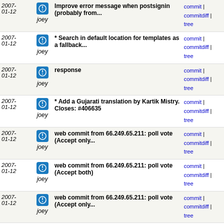| Date | Author | Message | Links |
| --- | --- | --- | --- |
| 2007-01-12 | joey | Improve error message when postsignin (probably from... | commit | commitdiff | tree |
| 2007-01-12 | joey | * Search in default location for templates as a fallback... | commit | commitdiff | tree |
| 2007-01-12 | joey | response | commit | commitdiff | tree |
| 2007-01-12 | joey | * Add a Gujarati translation by Kartik Mistry. Closes: #406635 | commit | commitdiff | tree |
| 2007-01-12 | joey | web commit from 66.249.65.211: poll vote (Accept only... | commit | commitdiff | tree |
| 2007-01-12 | joey | web commit from 66.249.65.211: poll vote (Accept both) | commit | commitdiff | tree |
| 2007-01-12 | joey | web commit from 66.249.65.211: poll vote (Accept only... | commit | commitdiff | tree |
| 2007-01-12 | joey | web commit by http://ptecza.myopenid.com/: Response | commit | commitdiff | tree |
| 2007-01-12 | joey | web commit by http://ptecza.myopenid.com/: Response | commit | commitdiff | tree |
| 2007-01-12 | joey | web commit by http://ethan.betacantrips.com/: for whatever... | commit | commitdiff | tree |
| 2007-01-12 | joey | web commit by http://ethan.betacantrips.com/ | commit | commitdiff | tree |
| 2007-01-12 | joey | response | commit | commitdiff | tree |
| 2007-01-12 | joey | web commit by JeremyReed: provide | commit | commitdiff | tree |